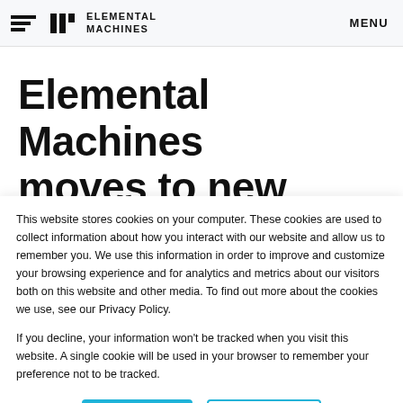ELEMENTAL MACHINES  MENU
Elemental Machines moves to new
This website stores cookies on your computer. These cookies are used to collect information about how you interact with our website and allow us to remember you. We use this information in order to improve and customize your browsing experience and for analytics and metrics about our visitors both on this website and other media. To find out more about the cookies we use, see our Privacy Policy.
If you decline, your information won't be tracked when you visit this website. A single cookie will be used in your browser to remember your preference not to be tracked.
Accept  Decline